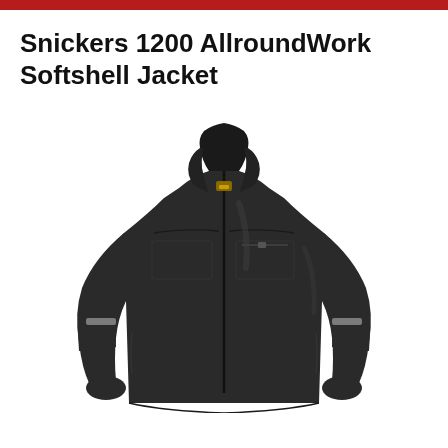Snickers 1200 AllroundWork Softshell Jacket
[Figure (photo): Product photo of Snickers 1200 AllroundWork Softshell Jacket — a black softshell jacket displayed on a headless mannequin. The jacket features a high collar with a gold/brass zipper pull, front zip closure, chest pockets, a small zip pocket on the right chest, reflective strips on both sleeves, and side pockets. The jacket is shown against a white background.]